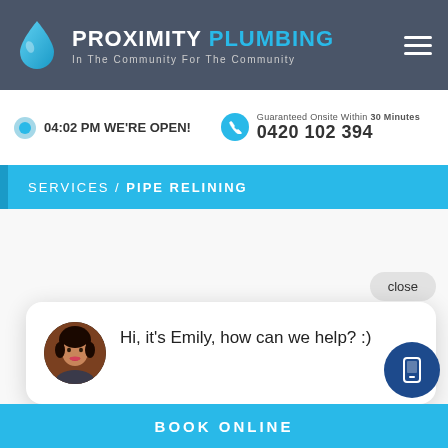PROXIMITY PLUMBING — In The Community For The Community
04:02 PM WE'RE OPEN!
Guaranteed Onsite Within 30 Minutes
0420 102 394
SERVICES / PIPE RELINING
close
Hi, it's Emily, how can we help? :)
BOOK ONLINE